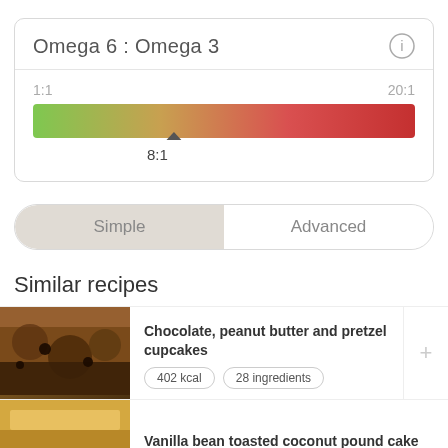Omega 6 : Omega 3
[Figure (infographic): Gradient bar from green (1:1) to red (20:1) showing Omega 6 to Omega 3 ratio scale, with a marker indicating 8:1]
1:1
20:1
8:1
Simple
Advanced
Similar recipes
Chocolate, peanut butter and pretzel cupcakes
402 kcal
28 ingredients
Vanilla bean toasted coconut pound cake